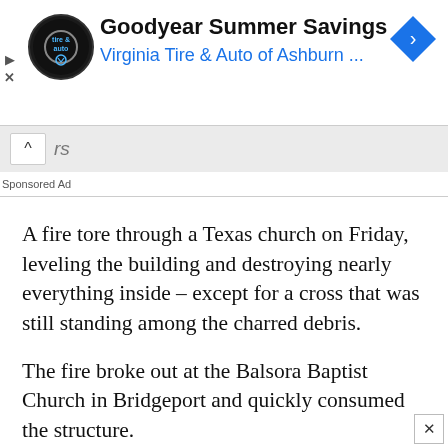[Figure (screenshot): Goodyear Summer Savings ad banner with Virginia Tire & Auto of Ashburn logo and blue navigation arrow diamond icon]
Sponsored Ad
A fire tore through a Texas church on Friday, leveling the building and destroying nearly everything inside – except for a cross that was still standing among the charred debris.
The fire broke out at the Balsora Baptist Church in Bridgeport and quickly consumed the structure.